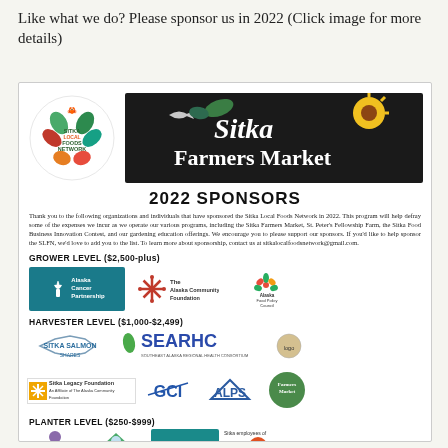Like what we do? Please sponsor us in 2022 (Click image for more details)
[Figure (infographic): 2022 Sponsors flyer for Sitka Local Foods Network and Sitka Farmers Market. Lists sponsor levels: Grower Level ($2,500-plus), Harvester Level ($1,000-$2,499), Planter Level ($250-$999). Logos shown include Alaska Cancer Partnership, Alaska Community Foundation, Alaska Food Policy Council, Sitka Salmon, SEARHC, Sitka Legacy Foundation, GCI, ALPS, Farmers Market, and others at bottom.]